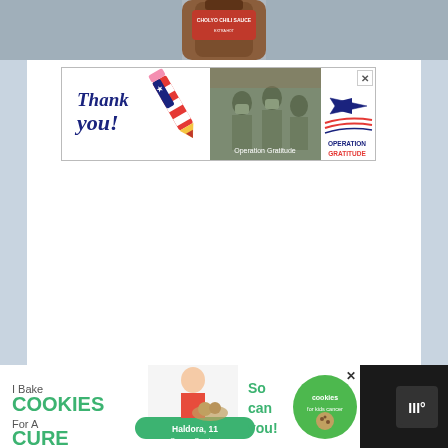[Figure (photo): Partial view of a hot chili sauce bottle against a blurred background]
[Figure (photo): Operation Gratitude advertisement banner showing 'Thank you!' written text with a pencil graphic styled as American flag, soldiers in camouflage, and Operation Gratitude logo with airplane and flag swoosh]
[Figure (photo): Cookies for Kids Cancer advertisement banner showing 'I Bake COOKIES For A CURE' text, a girl named Haldora age 11 cancer survivor, 'So can you!' text, and cookies for kids cancer green logo]